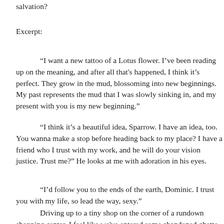salvation?
Excerpt:
“I want a new tattoo of a Lotus flower. I’ve been reading up on the meaning, and after all that's happened, I think it’s perfect. They grow in the mud, blossoming into new beginnings. My past represents the mud that I was slowly sinking in, and my present with you is my new beginning.”
“I think it’s a beautiful idea, Sparrow. I have an idea, too. You wanna make a stop before heading back to my place? I have a friend who I trust with my work, and he will do your vision justice. Trust me?” He looks at me with adoration in his eyes.
“I’d follow you to the ends of the earth, Dominic. I trust you with my life, so lead the way, sexy.”
Driving up to a tiny shop on the corner of a rundown shopping center, I feel like we've entered some abandoned ghetto in a gruesome horror flick. The neon sign on the front of the building simply reads Tattoo, and is missing an O. Perfet